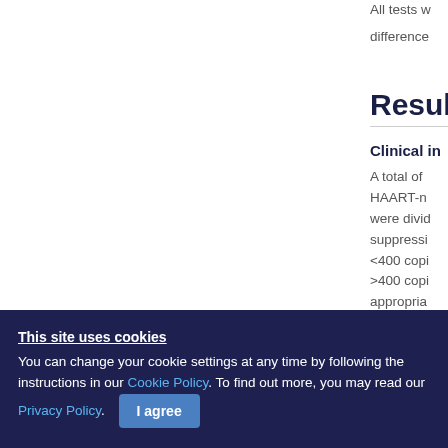All tests w... difference...
Results
Clinical in
A total of ... HAART-n... were divid... suppressi... <400 copi... >400 copi... appropria... typical an...
This site uses cookies
You can change your cookie settings at any time by following the instructions in our Cookie Policy. To find out more, you may read our Privacy Policy.